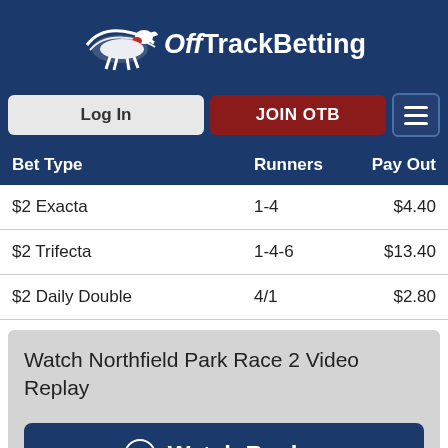OffTrackBetting
| Bet Type | Runners | Pay Out |
| --- | --- | --- |
| $2 Exacta | 1-4 | $4.40 |
| $2 Trifecta | 1-4-6 | $13.40 |
| $2 Daily Double | 4/1 | $2.80 |
Watch Northfield Park Race 2 Video Replay
Watch Replay